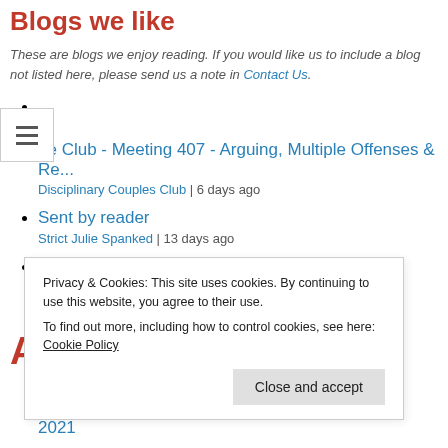Blogs we like
These are blogs we enjoy reading. If you would like us to include a blog not listed here, please send us a note in Contact Us.
ne Club - Meeting 407 - Arguing, Multiple Offenses & Re... | Disciplinary Couples Club | 6 days ago
Sent by reader | Strict Julie Spanked | 13 days ago
The Return of the Cage
Privacy & Cookies: This site uses cookies. By continuing to use this website, you agree to their use. To find out more, including how to control cookies, see here: Cookie Policy
Close and accept
2021